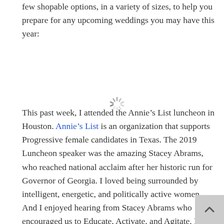few shopable options, in a variety of sizes, to help you prepare for any upcoming weddings you may have this year:
[Figure (other): Loading spinner icon (animated loading indicator)]
This past week, I attended the Annie’s List luncheon in Houston. Annie’s List is an organization that supports Progressive female candidates in Texas. The 2019 Luncheon speaker was the amazing Stacey Abrams, who reached national acclaim after her historic run for Governor of Georgia. I loved being surrounded by intelligent, energetic, and politically active women. And I enjoyed hearing from Stacey Abrams who encouraged us to Educate, Activate, and Agitate. Here is a lovely photo of some of the amazing women who attended the 2019 Annie’s List Luncheon with me: